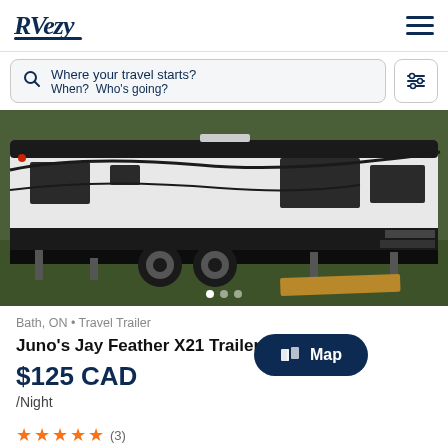RVezy
Where your travel starts? When? Who's going?
[Figure (photo): White and black travel trailer RV parked on grass, side view showing wheels, windows, and entry steps with a cardboard ramp]
Bath, ON • Travel Trailer
Juno's Jay Feather X21 Trailer
$125 CAD /Night
Map
(3)